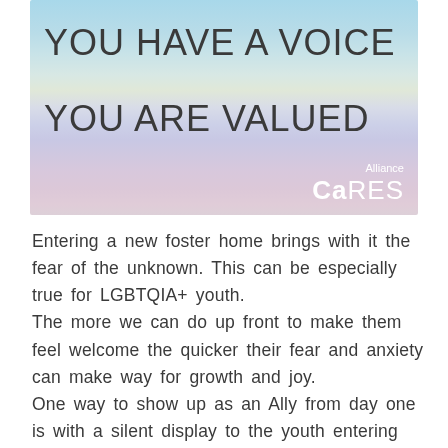[Figure (illustration): Watercolor-style banner with gradient pastel colors (blue, green, lavender, pink) containing two large text lines: YOU HAVE A VOICE and YOU ARE VALUED, with Alliance CaRES logo in lower right corner]
Entering a new foster home brings with it the fear of the unknown. This can be especially true for LGBTQIA+ youth.
The more we can do up front to make them feel welcome the quicker their fear and anxiety can make way for growth and joy.
One way to show up as an Ally from day one is with a silent display to the youth entering your